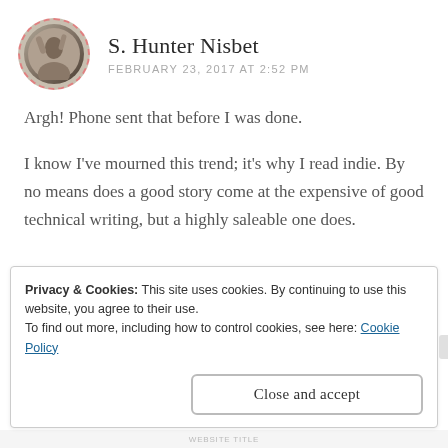[Figure (photo): Circular avatar photo of S. Hunter Nisbet with dashed red border, showing a person or bird silhouette against a light background]
S. Hunter Nisbet
FEBRUARY 23, 2017 AT 2:52 PM
Argh! Phone sent that before I was done.
I know I've mourned this trend; it's why I read indie. By no means does a good story come at the expensive of good technical writing, but a highly saleable one does.
★ Like
Privacy & Cookies: This site uses cookies. By continuing to use this website, you agree to their use.
To find out more, including how to control cookies, see here: Cookie Policy
Close and accept